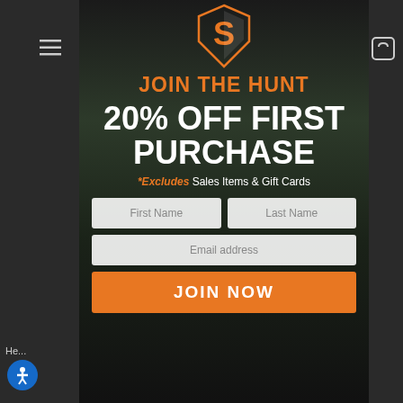[Figure (logo): S-shaped brand logo in orange and white at top center of modal popup]
JOIN THE HUNT
20% OFF FIRST PURCHASE
*Excludes Sales Items & Gift Cards
[Figure (screenshot): Modal popup with dark hunting background image showing camouflaged hunter with bow. Contains form fields: First Name, Last Name, Email address, and JOIN NOW button.]